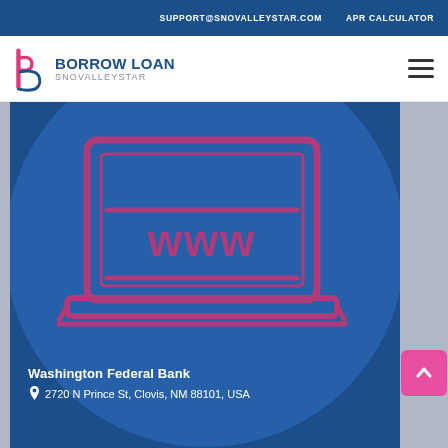SUPPORT@SNOVALLEYSTAR.COM   APR CALCULATOR
[Figure (logo): Borrow Loan Snovalleystar logo with stylized 'b' icon in pink/magenta and blue text]
[Figure (illustration): Laptop computer icon with 'www' text on screen, rendered in pink outline on dark blue circular background]
Washington Federal Bank
2720 N Prince St, Clovis, NM 88101, USA